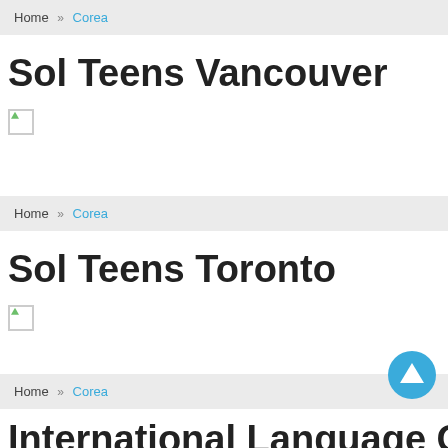Home » Corea
Sol Teens Vancouver
[Figure (other): Broken image placeholder]
Home » Corea
Sol Teens Toronto
[Figure (other): Broken image placeholder]
Home » Corea
International Language Comm…